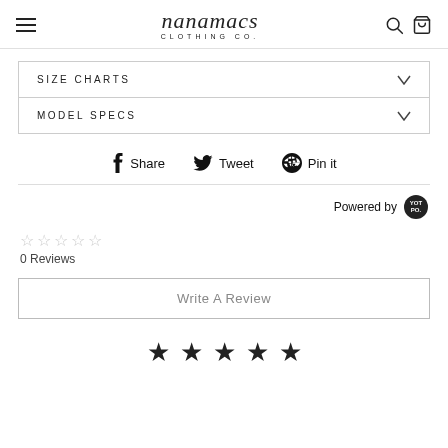nanamacs CLOTHING CO. — navigation header with hamburger menu, search, and bag icons
SIZE CHARTS
MODEL SPECS
Share  Tweet  Pin it
Powered by YotPo
☆☆☆☆☆
0 Reviews
Write A Review
★ ★ ★ ★ ★